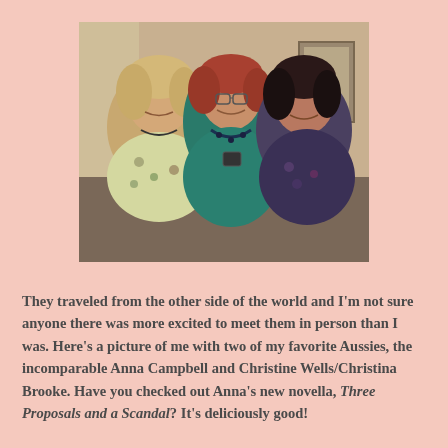[Figure (photo): A photograph of three women smiling together indoors. The woman on the left has blonde hair and wears a floral print top. The woman in the middle has reddish hair, glasses, and wears a teal/green top with a beaded necklace. The woman on the right has dark hair and wears a dark floral top.]
They traveled from the other side of the world and I'm not sure anyone there was more excited to meet them in person than I was. Here's a picture of me with two of my favorite Aussies, the incomparable Anna Campbell and Christine Wells/Christina Brooke. Have you checked out Anna's new novella, Three Proposals and a Scandal? It's deliciously good!